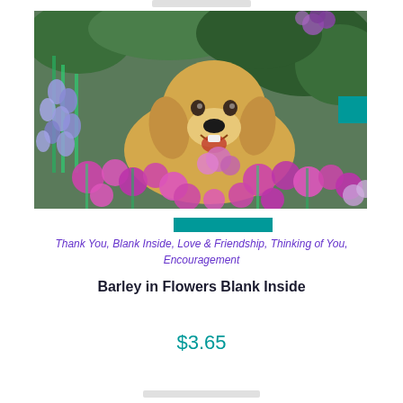[Figure (photo): A golden retriever dog sitting among purple and lavender flowers with green foliage in the background, appearing happy with mouth open]
Thank You, Blank Inside, Love & Friendship, Thinking of You, Encouragement
Barley in Flowers Blank Inside
$3.65